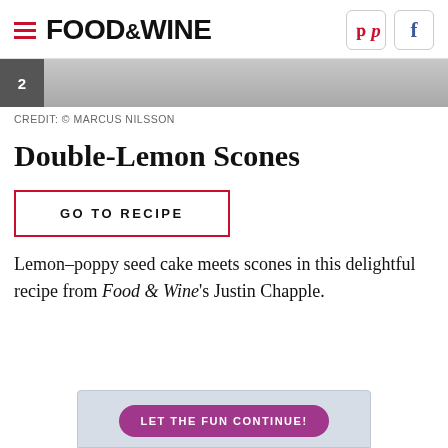FOOD & WINE
CREDIT: © MARCUS NILSSON
Double-Lemon Scones
GO TO RECIPE
Lemon–poppy seed cake meets scones in this delightful recipe from Food & Wine's Justin Chapple.
LET THE FUN CONTINUE!